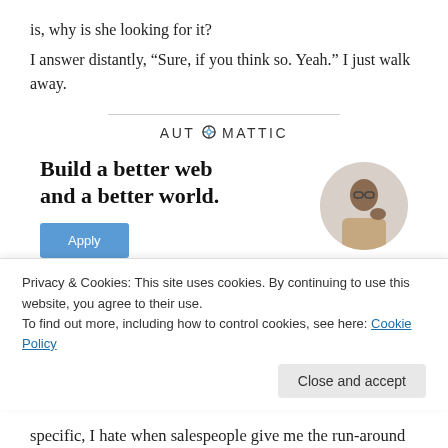is, why is she looking for it?
I answer distantly, “Sure, if you think so. Yeah.” I just walk away.
[Figure (logo): AUTOMATTIC logo with a compass/target icon replacing the letter O]
[Figure (infographic): Automattic job advertisement: 'Build a better web and a better world.' with an Apply button and a photo of a man thinking]
Privacy & Cookies: This site uses cookies. By continuing to use this website, you agree to their use.
To find out more, including how to control cookies, see here: Cookie Policy
Close and accept
specific, I hate when salespeople give me the run-around